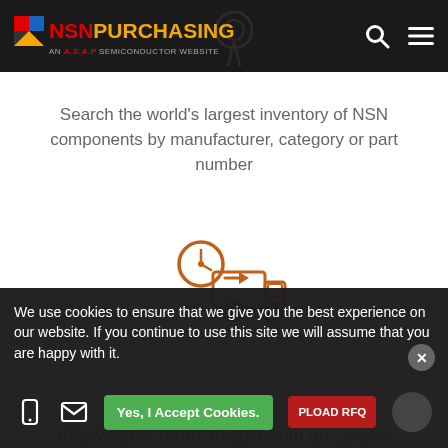NSN PURCHASING — AN A.S.A.P SEMICONDUCTOR WEBSITE
Search the world's largest inventory of NSN components by manufacturer, category or part number
[Figure (illustration): Delivery truck with clock icon in orange outline style]
All inventory ready to ship from our sellers
We use cookies to ensure that we give you the best experience on our website. If you continue to use this site we will assume that you are happy with it.